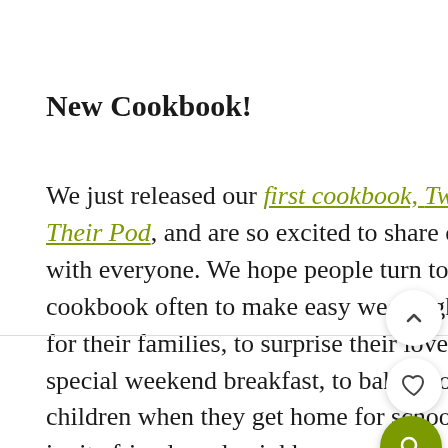New Cookbook!
We just released our first cookbook, Two Peas & Their Pod, and are so excited to share our recipes with everyone. We hope people turn to this cookbook often to make easy weeknight dinners for their families, to surprise their loved ones with special weekend breakfast, to bake cookies for their children when they get home for school, and to invite friends and neighbors over to share a meal and good conversation. We want people to USE this cookbook and to love not only the recipes but the memories they create in the kitchen with their loved ones. With our two boys, Caleb and Maxwell,